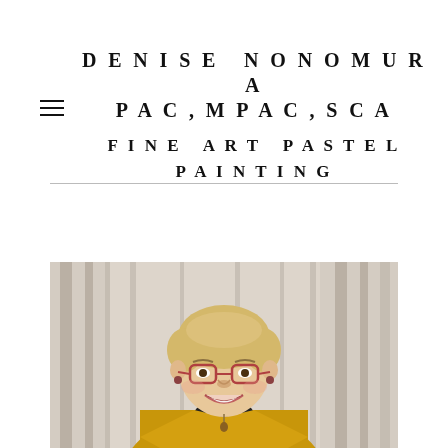DENISE NONOMURA PAC,MPAC,SCA
FINE ART PASTEL PAINTING
[Figure (photo): Portrait photo of a smiling woman with short blonde hair, wearing red-framed glasses, a yellow blazer, and a dark top with a pendant necklace, standing in front of beige/grey curtains.]